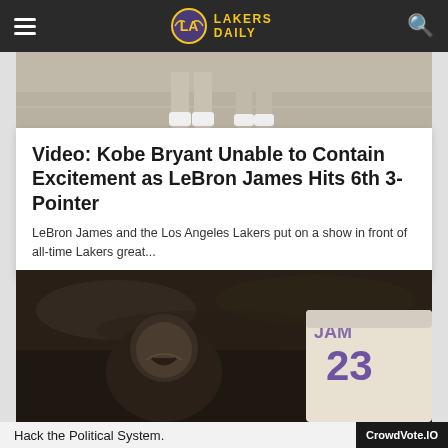Lakers Daily
[Figure (photo): Top portion of a basketball court photo showing player legs]
Video: Kobe Bryant Unable to Contain Excitement as LeBron James Hits 6th 3-Pointer
LeBron James and the Los Angeles Lakers put on a show in front of all-time Lakers great...
[Figure (photo): Photo of Kobe Bryant laughing courtside next to LeBron James wearing a white Lakers jersey number 23]
Hack the Political System.
CrowdVote.IO